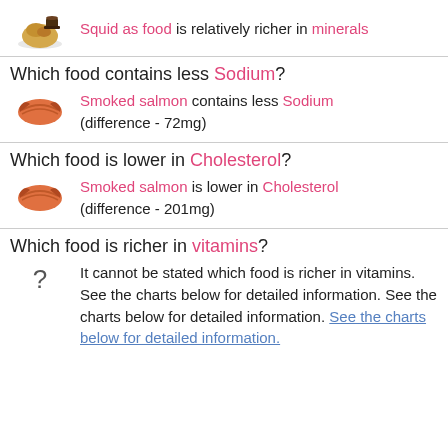Squid as food is relatively richer in minerals
Which food contains less Sodium?
Smoked salmon contains less Sodium (difference - 72mg)
Which food is lower in Cholesterol?
Smoked salmon is lower in Cholesterol (difference - 201mg)
Which food is richer in vitamins?
It cannot be stated which food is richer in vitamins. See the charts below for detailed information. See the charts below for detailed information. See the charts below for detailed information.